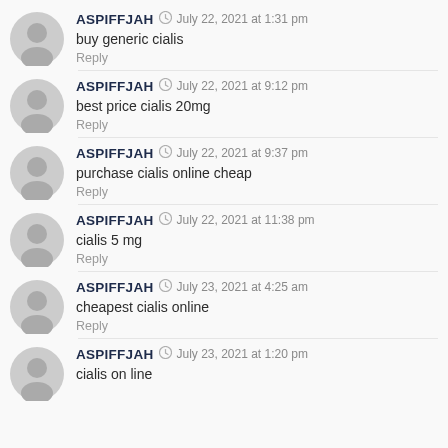ASPIFFJAH · July 22, 2021 at 1:31 pm
buy generic cialis
Reply
ASPIFFJAH · July 22, 2021 at 9:12 pm
best price cialis 20mg
Reply
ASPIFFJAH · July 22, 2021 at 9:37 pm
purchase cialis online cheap
Reply
ASPIFFJAH · July 22, 2021 at 11:38 pm
cialis 5 mg
Reply
ASPIFFJAH · July 23, 2021 at 4:25 am
cheapest cialis online
Reply
ASPIFFJAH · July 23, 2021 at 1:20 pm
cialis on line